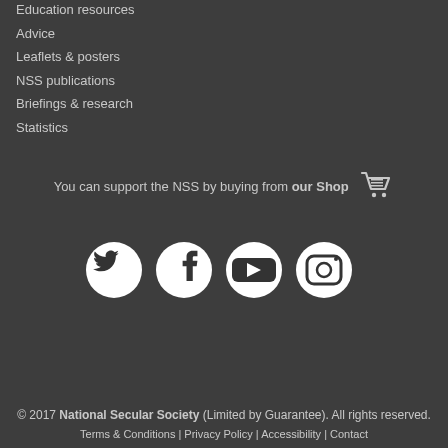Education resources
Advice
Leaflets & posters
NSS publications
Briefings & research
Statistics
You can support the NSS by buying from our Shop
[Figure (illustration): Social media icons: Twitter, Facebook, YouTube, Instagram]
Need advice?
© 2017 National Secular Society (Limited by Guarantee). All rights reserved. Terms & Conditions | Privacy Policy | Accessibility | Contact